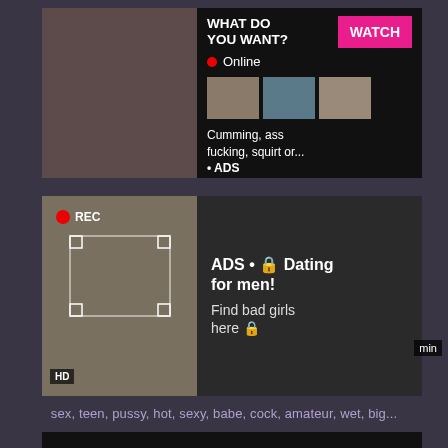[Figure (screenshot): Adult website screenshot with two advertisement overlays. Top ad shows text 'WHAT DO YOU WANT?' with a pink WATCH button, Online status indicator, thumbnail images, and text 'Cumming, ass fucking, squirt or... • ADS'. Bottom ad shows REC badge, an image, and text 'ADS • 🔒 Dating for men! Find bad girls here 🔒'. Tags row shows: sex, teen, pussy, hot, sexy, babe, cock, amateur, wet, big...]